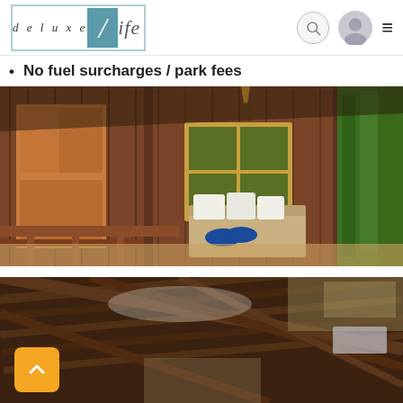[Figure (logo): deluxeLife logo - text 'deluxe' in italic serif with a teal/blue box containing a slash and 'ife' in italic serif]
No fuel surcharges / park fees
[Figure (photo): Interior of a tropical wooden bungalow with dark wood paneled walls, a daybed with white and blue pillows near a yellow-framed window, open veranda with wooden railings and lush green tropical foliage outside]
[Figure (photo): Interior ceiling of a tropical bungalow showing wooden rafters and thatch/bamboo roof structure]